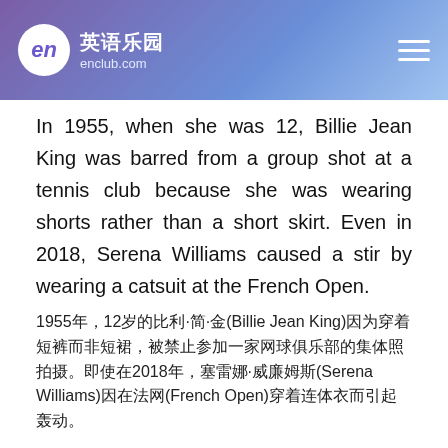英语乐园 enclub.com
In 1955, when she was 12, Billie Jean King was barred from a group shot at a tennis club because she was wearing shorts rather than a short skirt. Even in 2018, Serena Williams caused a stir by wearing a catsuit at the French Open.
1955年，12岁的比利·简·金(Billie Jean King)因为穿着短裤而非短裙，被禁止参加一家网球俱乐部的集体照拍摄。即使在2018年，塞雷娜·威廉姆斯(Serena Williams)因在法网(French Open)穿着连体衣而引起轰动。
It's the Culture!
这就是文化！
At this point, an alien landing on Earth could be forgiven for being confused about the so-called skirts worn by